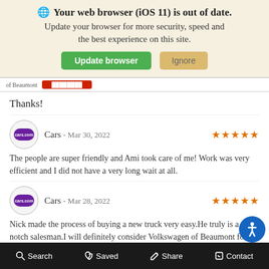🌐 Your web browser (iOS 11) is out of date. Update your browser for more security, speed and the best experience on this site.
Thanks!
Cars - Mar 30, 2022 ★★★★★
The people are super friendly and Ami took care of me! Work was very efficient and I did not have a very long wait at all.
Cars - Mar 28, 2022 ★★★★★
Nick made the process of buying a new truck very easy.He truly is a top notch salesman.I will definitely consider Volkswagen of Beaumont for my next purchase.From sales to financin
🔍 Search   ♡ Saved   👍 Share   📞 Contact